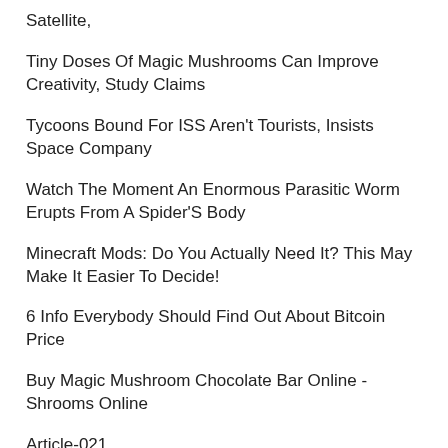Satellite,
Tiny Doses Of Magic Mushrooms Can Improve Creativity, Study Claims
Tycoons Bound For ISS Aren't Tourists, Insists Space Company
Watch The Moment An Enormous Parasitic Worm Erupts From A Spider'S Body
Minecraft Mods: Do You Actually Need It? This May Make It Easier To Decide!
6 Info Everybody Should Find Out About Bitcoin Price
Buy Magic Mushroom Chocolate Bar Online - Shrooms Online
Article-021
Article-243